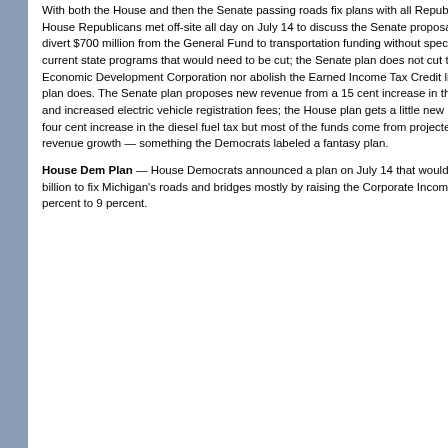With both the House and then the Senate passing roads fix plans with all Republican votes, the House Republicans met off-site all day on July 14 to discuss the Senate proposal. Both plans divert $700 million from the General Fund to transportation funding without specifying all the current state programs that would need to be cut; the Senate plan does not cut the Michigan Economic Development Corporation nor abolish the Earned Income Tax Credit like the House plan does. The Senate plan proposes new revenue from a 15 cent increase in the motor fuel tax and increased electric vehicle registration fees; the House plan gets a little new revenue from a four cent increase in the diesel fuel tax but most of the funds come from projected future revenue growth — something the Democrats labeled a fantasy plan.
House Dem Plan — House Democrats announced a plan on July 14 that would raise $1.2 billion to fix Michigan's roads and bridges mostly by raising the Corporate Income Tax from 6 percent to 9 percent.
Insurance Information
SERA Council Directories
Michigan Government Links
Testimony
Letters and Press Releases
Resources
Links